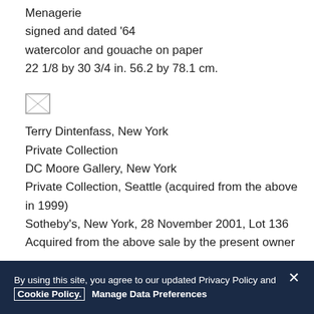Menagerie
signed and dated '64
watercolor and gouache on paper
22 1/8 by 30 3/4 in. 56.2 by 78.1 cm.
[Figure (other): Small icon/symbol placeholder image (image broken/not loaded)]
Terry Dintenfass, New York
Private Collection
DC Moore Gallery, New York
Private Collection, Seattle (acquired from the above in 1999)
Sotheby's, New York, 28 November 2001, Lot 136
Acquired from the above sale by the present owner
[Figure (other): Small icon/symbol placeholder image (image broken/not loaded)]
By using this site, you agree to our updated Privacy Policy and Cookie Policy. Manage Data Preferences